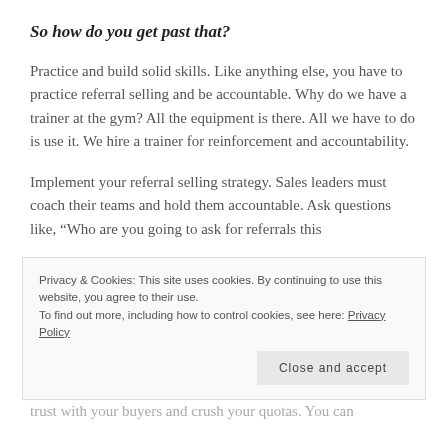So how do you get past that?
Practice and build solid skills. Like anything else, you have to practice referral selling and be accountable. Why do we have a trainer at the gym? All the equipment is there. All we have to do is use it. We hire a trainer for reinforcement and accountability.
Implement your referral selling strategy. Sales leaders must coach their teams and hold them accountable. Ask questions like, “Who are you going to ask for referrals this
Privacy & Cookies: This site uses cookies. By continuing to use this website, you agree to their use.
To find out more, including how to control cookies, see here: Privacy Policy
trust with your buyers and crush your quotas. You can